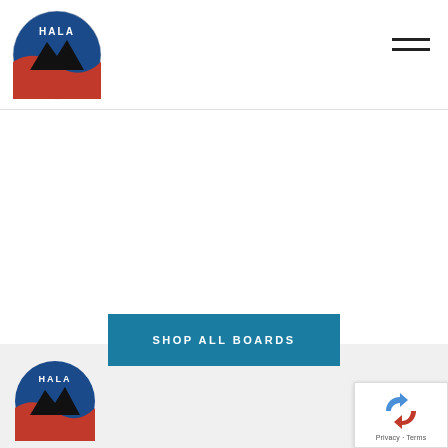[Figure (logo): HALA circular logo with mountain and red wave, top left of header]
[Figure (other): Hamburger menu icon (two horizontal lines) in top right of header]
SHOP ALL BOARDS
[Figure (logo): HALA circular logo with mountain and red wave, bottom left of footer area]
[Figure (other): Google reCAPTCHA badge bottom right with rotating arrows icon and Privacy - Terms text]